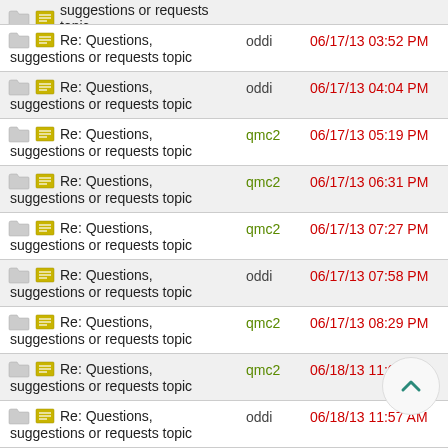Re: Questions, suggestions or requests topic | oddi | 06/17/13 03:52 PM
Re: Questions, suggestions or requests topic | oddi | 06/17/13 04:04 PM
Re: Questions, suggestions or requests topic | qmc2 | 06/17/13 05:19 PM
Re: Questions, suggestions or requests topic | qmc2 | 06/17/13 06:31 PM
Re: Questions, suggestions or requests topic | qmc2 | 06/17/13 07:27 PM
Re: Questions, suggestions or requests topic | oddi | 06/17/13 07:58 PM
Re: Questions, suggestions or requests topic | qmc2 | 06/17/13 08:29 PM
Re: Questions, suggestions or requests topic | qmc2 | 06/18/13 11:01 AM
Re: Questions, suggestions or requests topic | oddi | 06/18/13 11:57 AM
Re: Questions, suggestions or requests topic | ... | 06/18/13 12:01 PM